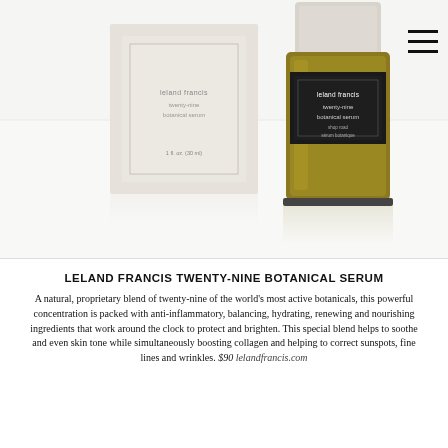[Figure (photo): Product photo of Leland Francis Twenty-Nine Botanical Serum showing a beige/cream box packaging on the left and a dark amber glass bottle with black label on the right, both on a white background with soft reflection]
LELAND FRANCIS TWENTY-NINE BOTANICAL SERUM
A natural, proprietary blend of twenty-nine of the world’s most active botanicals, this powerful concentration is packed with anti-inflammatory, balancing, hydrating, renewing and nourishing ingredients that work around the clock to protect and brighten. This special blend helps to soothe and even skin tone while simultaneously boosting collagen and helping to correct sunspots, fine lines and wrinkles. $90 lelandfrancis.com